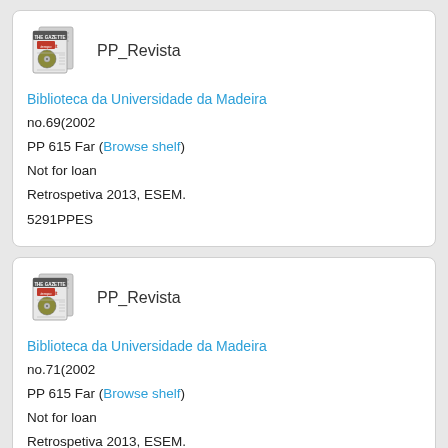[Figure (illustration): Newspaper/magazine icon for PP_Revista with text PP_Revista beside it]
Biblioteca da Universidade da Madeira
no.69(2002
PP 615 Far (Browse shelf)
Not for loan
Retrospetiva 2013, ESEM.
5291PPES
[Figure (illustration): Newspaper/magazine icon for PP_Revista with text PP_Revista beside it]
Biblioteca da Universidade da Madeira
no.71(2002
PP 615 Far (Browse shelf)
Not for loan
Retrospetiva 2013, ESEM.
5364PPES